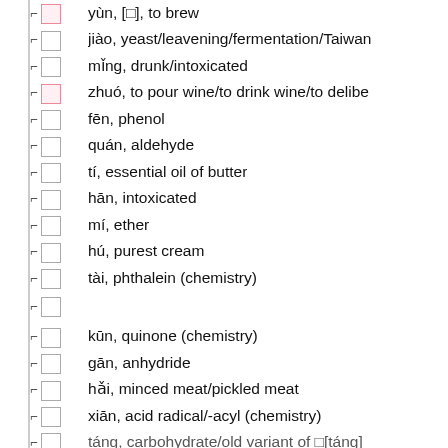yùn, [□], to brew
jiào, yeast/leavening/fermentation/Taiwan
mǐng, drunk/intoxicated
zhuó, to pour wine/to drink wine/to delibe
fēn, phenol
quán, aldehyde
tí, essential oil of butter
hān, intoxicated
mí, ether
hú, purest cream
tài, phthalein (chemistry)
□
kūn, quinone (chemistry)
gān, anhydride
hǎi, minced meat/pickled meat
xiān, acid radical/-acyl (chemistry)
táng, carbohydrate/old variant of □[táng]